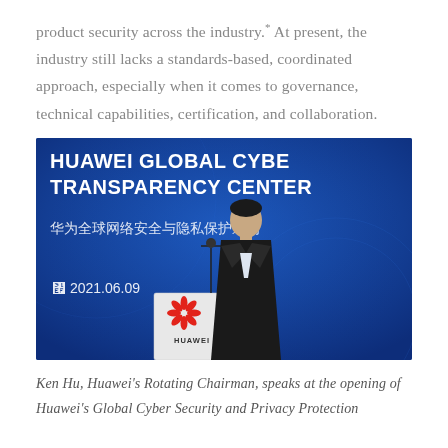product security across the industry." At present, the industry still lacks a standards-based, coordinated approach, especially when it comes to governance, technical capabilities, certification, and collaboration.
[Figure (photo): Ken Hu, Huawei's Rotating Chairman, speaks at a podium bearing the Huawei logo at the opening of Huawei's Global Cyber Security and Privacy Protection Transparency Center, dated 2021.06.09. Blue backdrop with text 'HUAWEI GLOBAL CYBER TRANSPARENCY CENTER' and Chinese characters '华为全球网络安全与隐私保护透明'.]
Ken Hu, Huawei's Rotating Chairman, speaks at the opening of Huawei's Global Cyber Security and Privacy Protection